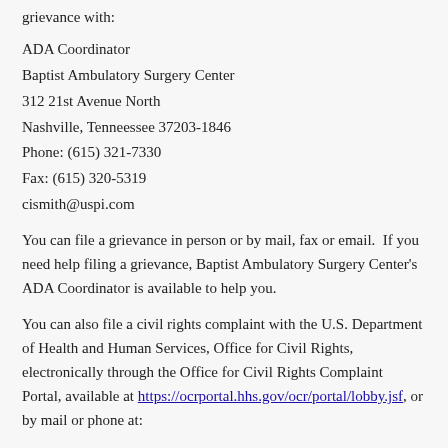grievance with:
ADA Coordinator
Baptist Ambulatory Surgery Center
312 21st Avenue North
Nashville, Tenneessee 37203-1846
Phone: (615) 321-7330
Fax: (615) 320-5319
cismith@uspi.com
You can file a grievance in person or by mail, fax or email.  If you need help filing a grievance, Baptist Ambulatory Surgery Center's ADA Coordinator is available to help you.
You can also file a civil rights complaint with the U.S. Department of Health and Human Services, Office for Civil Rights, electronically through the Office for Civil Rights Complaint Portal, available at https://ocrportal.hhs.gov/ocr/portal/lobby.jsf, or by mail or phone at:
U.S. Department of Health and Human Services